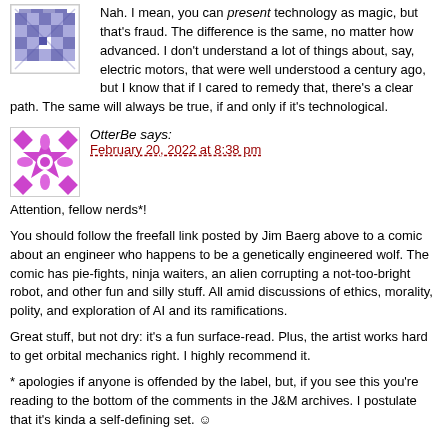[Figure (illustration): Purple/blue pixel avatar icon with geometric quilt-like pattern]
Nah. I mean, you can present technology as magic, but that's fraud. The difference is the same, no matter how advanced. I don't understand a lot of things about, say, electric motors, that were well understood a century ago, but I know that if I cared to remedy that, there's a clear path. The same will always be true, if and only if it's technological.
[Figure (illustration): Purple/white pixel avatar icon with floral geometric pattern]
OtterBe says:
February 20, 2022 at 8:38 pm
Attention, fellow nerds*!
You should follow the freefall link posted by Jim Baerg above to a comic about an engineer who happens to be a genetically engineered wolf. The comic has pie-fights, ninja waiters, an alien corrupting a not-too-bright robot, and other fun and silly stuff. All amid discussions of ethics, morality, polity, and exploration of AI and its ramifications.
Great stuff, but not dry: it's a fun surface-read. Plus, the artist works hard to get orbital mechanics right. I highly recommend it.
* apologies if anyone is offended by the label, but, if you see this you're reading to the bottom of the comments in the J&M archives. I postulate that it's kinda a self-defining set. ☺
Comment¬
NOTE: This comments section is provided as a friendly place for readers of J&M to talk, to exchange jokes and ideas, to engage in profound